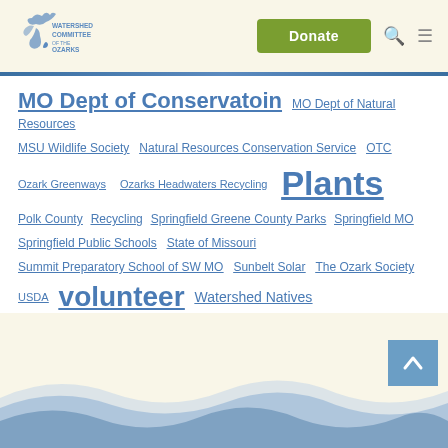[Figure (logo): Watershed Committee of the Ozarks logo with stylized water bird graphic and text]
Donate
MO Dept of Conservatoin  MO Dept of Natural Resources  MSU Wildlife Society  Natural Resources Conservation Service  OTC  Ozark Greenways  Ozarks Headwaters Recycling  Plants  Polk County  Recycling  Springfield Greene County Parks  Springfield MO  Springfield Public Schools  State of Missouri  Summit Preparatory School of SW MO  Sunbelt Solar  The Ozark Society  USDA  volunteer  Watershed Natives